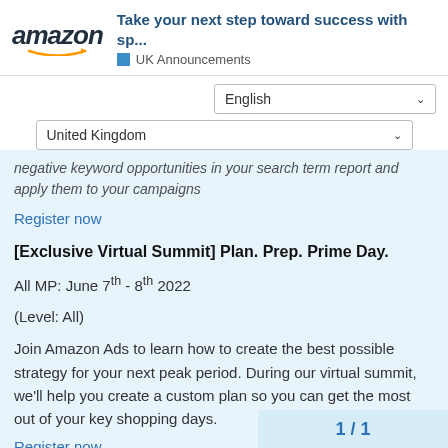amazon | Take your next step toward success with sp... | UK Announcements
English (dropdown)
United Kingdom (dropdown)
negative keyword opportunities in your search term report and apply them to your campaigns
Register now
[Exclusive Virtual Summit] Plan. Prep. Prime Day.
All MP: June 7th - 8th 2022
(Level: All)
Join Amazon Ads to learn how to create the best possible strategy for your next peak period. During our virtual summit, we'll help you create a custom plan so you can get the most out of your key shopping days.
Register now
1 / 1